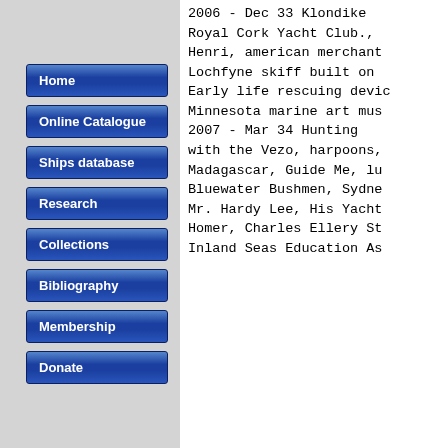Home
Online Catalogue
Ships database
Research
Collections
Bibliography
Membership
Donate
2006 - Dec  33  Klondike
Royal Cork Yacht Club.,
Henri, american merchant
Lochfyne skiff built on
Early life rescuing devic
Minnesota marine art mus
2007 - Mar  34  Hunting
with the Vezo, harpoons,
Madagascar, Guide Me, lu
Bluewater Bushmen, Sydne
Mr. Hardy Lee, His Yacht
Homer, Charles Ellery St
Inland Seas Education As